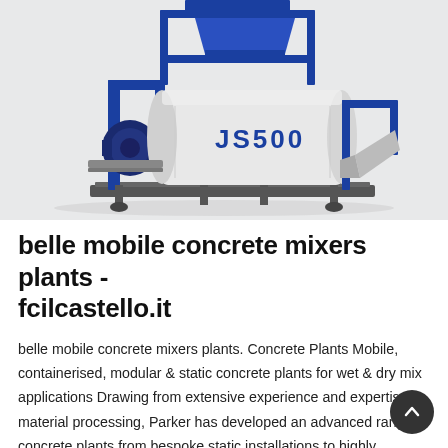[Figure (photo): Industrial concrete mixer machine labeled JS500, with blue steel frame structure and white cylindrical drum, mounted on a base platform. Light gray background.]
belle mobile concrete mixers plants - fcilcastello.it
belle mobile concrete mixers plants. Concrete Plants Mobile, containerised, modular & static concrete plants for wet & dry mix applications Drawing from extensive experience and expertise in material processing, Parker has developed an advanced range of concrete plants from bespoke static installations to highly transportable wet and dry mix batching plants for producing any mix